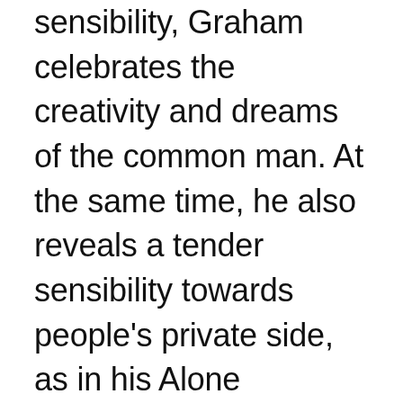sensibility, Graham celebrates the creativity and dreams of the common man. At the same time, he also reveals a tender sensibility towards people's private side, as in his Alone Together series - simple but emotionally strong images taken at the home of a couple who lived in total isolation with no modern amenities, on an